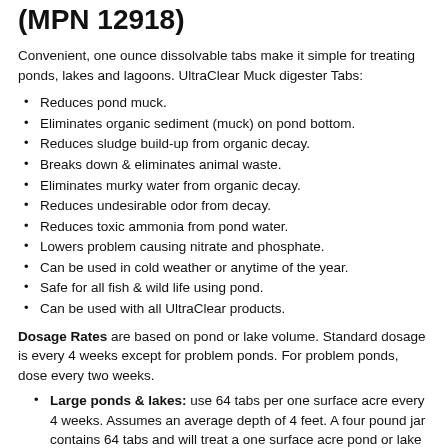(MPN 12918)
Convenient, one ounce dissolvable tabs make it simple for treating ponds, lakes and lagoons. UltraClear Muck digester Tabs:
Reduces pond muck.
Eliminates organic sediment (muck) on pond bottom.
Reduces sludge build-up from organic decay.
Breaks down & eliminates animal waste.
Eliminates murky water from organic decay.
Reduces undesirable odor from decay.
Reduces toxic ammonia from pond water.
Lowers problem causing nitrate and phosphate.
Can be used in cold weather or anytime of the year.
Safe for all fish & wild life using pond.
Can be used with all UltraClear products.
Dosage Rates are based on pond or lake volume. Standard dosage is every 4 weeks except for problem ponds. For problem ponds, dose every two weeks.
Large ponds & lakes: use 64 tabs per one surface acre every 4 weeks. Assumes an average depth of 4 feet. A four pound jar contains 64 tabs and will treat a one surface acre pond or lake for one application.
Medium size ponds: Use 16 tabs per quarter acre surface area